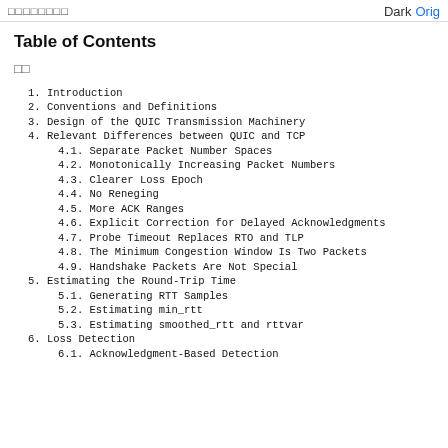□□□□□□□□   Dark  Orig
Table of Contents
□□
1.  Introduction
2.  Conventions and Definitions
3.  Design of the QUIC Transmission Machinery
4.  Relevant Differences between QUIC and TCP
4.1.  Separate Packet Number Spaces
4.2.  Monotonically Increasing Packet Numbers
4.3.  Clearer Loss Epoch
4.4.  No Reneging
4.5.  More ACK Ranges
4.6.  Explicit Correction for Delayed Acknowledgments
4.7.  Probe Timeout Replaces RTO and TLP
4.8.  The Minimum Congestion Window Is Two Packets
4.9.  Handshake Packets Are Not Special
5.  Estimating the Round-Trip Time
5.1.  Generating RTT Samples
5.2.  Estimating min_rtt
5.3.  Estimating smoothed_rtt and rttvar
6.  Loss Detection
6.1.  Acknowledgment-Based Detection